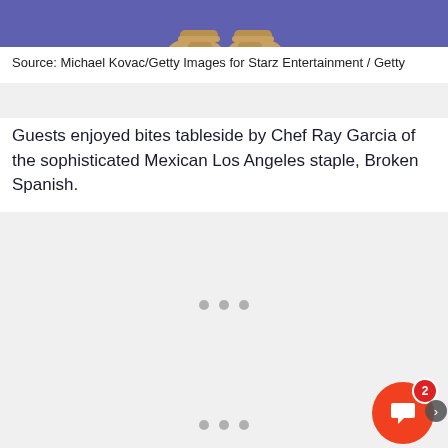[Figure (photo): Partial view of a person's gold heeled shoes/sandals against a purple/blue background, cropped so only the feet and lower legs are visible at the top of the frame.]
Source: Michael Kovac/Getty Images for Starz Entertainment / Getty
Guests enjoyed bites tableside by Chef Ray Garcia of the sophisticated Mexican Los Angeles staple, Broken Spanish.